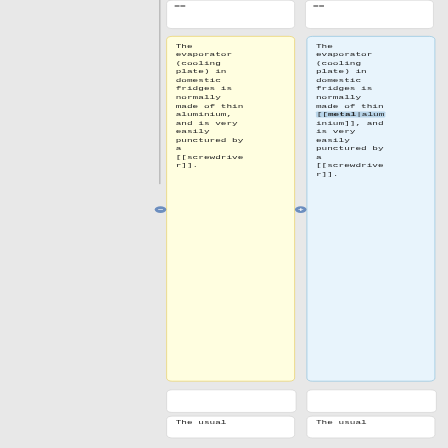==
==
The evaporator (cooling plate) in domestic fridges is normally made of thin aluminium, and is very easily punctured by a [[screwdriver]].
The evaporator (cooling plate) in domestic fridges is normally made of thin [[metal|aluminium]], and is very easily punctured by a [[screwdriver]].
The usual
The usual